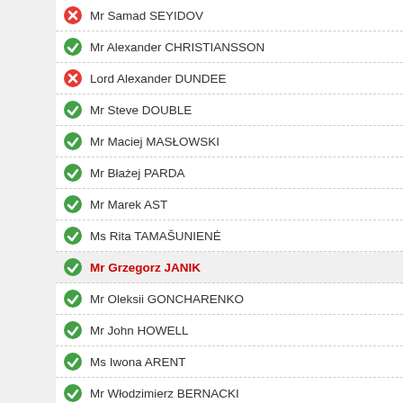Mr Samad SEYIDOV
Mr Alexander CHRISTIANSSON
Lord Alexander DUNDEE
Mr Steve DOUBLE
Mr Maciej MASŁOWSKI
Mr Błażej PARDA
Mr Marek AST
Ms Rita TAMAŠUNIENĖ
Mr Grzegorz JANIK
Mr Oleksii GONCHARENKO
Mr John HOWELL
Ms Iwona ARENT
Mr Włodzimierz BERNACKI
Sir Roger GALE
Ms Miroslava NĚMCOVÁ
Sir Christopher CHOPE
Mr Nigel EVANS